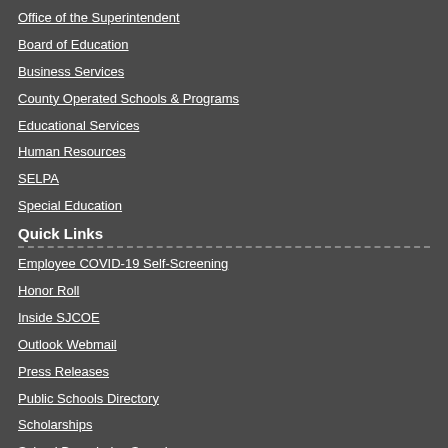Office of the Superintendent
Board of Education
Business Services
County Operated Schools & Programs
Educational Services
Human Resources
SELPA
Special Education
Quick Links
Employee COVID-19 Self-Screening
Honor Roll
Inside SJCOE
Outlook Webmail
Press Releases
Public Schools Directory
Scholarships
School Boundaries Search